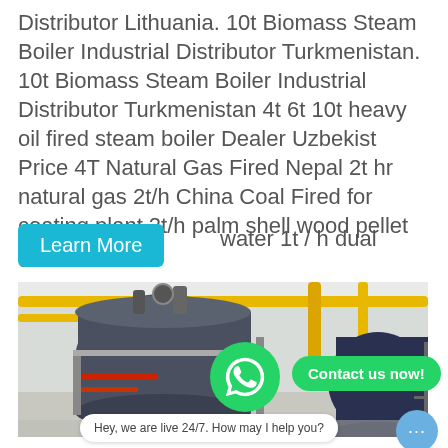Distributor Lithuania. 10t Biomass Steam Boiler Industrial Distributor Turkmenistan. 10t Biomass Steam Boiler Industrial Distributor Turkmenistan 4t 6t 10t heavy oil fired steam boiler Dealer Uzbekist Price 4T Natural Gas Fired Nepal 2t hr natural gas 2t/h China Coal Fired for coating plant 2t/h palm shell wood pellet generator hot water 1t / h dual
[Figure (photo): Industrial biomass steam boiler in a factory setting with yellow pipes, blue boiler body, and machinery visible.]
Hey, we are live 24/7. How may I help you?
Steam Fired Boiler Plant...